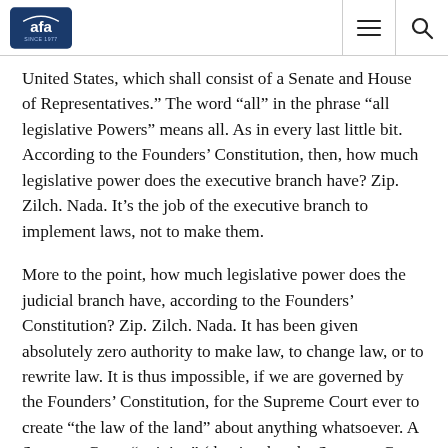AFA - Since 1977
United States, which shall consist of a Senate and House of Representatives.” The word “all” in the phrase “all legislative Powers” means all. As in every last little bit. According to the Founders’ Constitution, then, how much legislative power does the executive branch have? Zip. Zilch. Nada. It’s the job of the executive branch to implement laws, not to make them.
More to the point, how much legislative power does the judicial branch have, according to the Founders’ Constitution? Zip. Zilch. Nada. It has been given absolutely zero authority to make law, to change law, or to rewrite law. It is thus impossible, if we are governed by the Founders’ Constitution, for the Supreme Court ever to create “the law of the land” about anything whatsoever. A Supreme Court “opinion” (that is what the Supreme Court